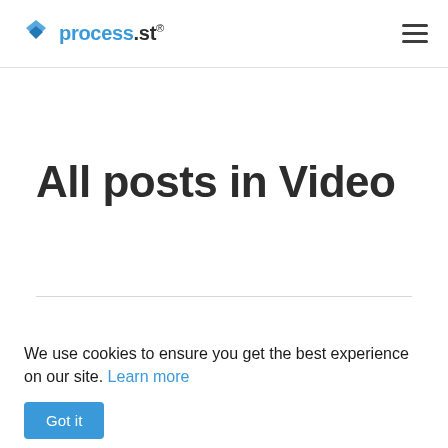process.st®
All posts in Video
We use cookies to ensure you get the best experience on our site. Learn more
Got it